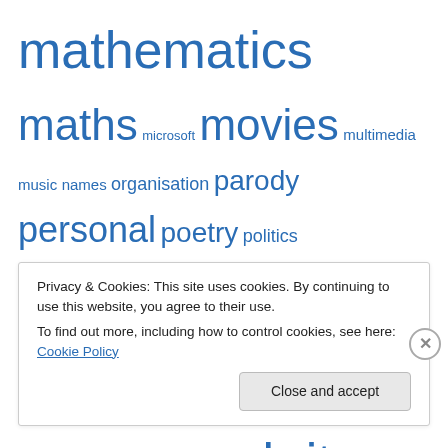mathematics maths microsoft movies multimedia music names organisation parody personal poetry politics presentation procrastination programming psychology python quote quotes rant sad sanskrit sanskrit literature sanskrit translation science society software technology ted text thisblog toread translation trivia ubuntu usability video writing
Privacy & Cookies: This site uses cookies. By continuing to use this website, you agree to their use. To find out more, including how to control cookies, see here: Cookie Policy
Close and accept